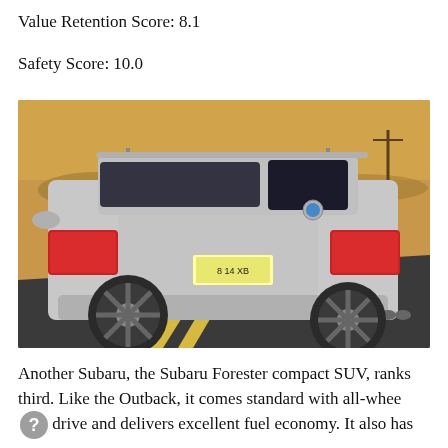Value Retention Score: 8.1
Safety Score: 10.0
[Figure (photo): Rear three-quarter view of a silver Subaru Forester compact SUV driving on a desert road with dry brush and utility poles in the background under a warm sunset sky.]
Another Subaru, the Subaru Forester compact SUV, ranks third. Like the Outback, it comes standard with all-wheel drive and delivers excellent fuel economy. It also has more